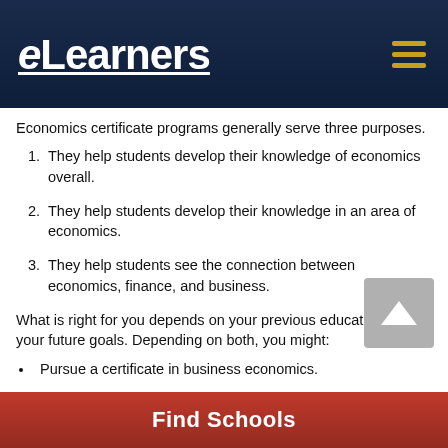eLearners
Economics certificate programs generally serve three purposes.
They help students develop their knowledge of economics overall.
They help students develop their knowledge in an area of economics.
They help students see the connection between economics, finance, and business.
What is right for you depends on your previous education and your future goals. Depending on both, you might:
Pursue a certificate in business economics.
Pursue a certificate in economic development.
Pursue a certificate in finance economics.
Find Schools